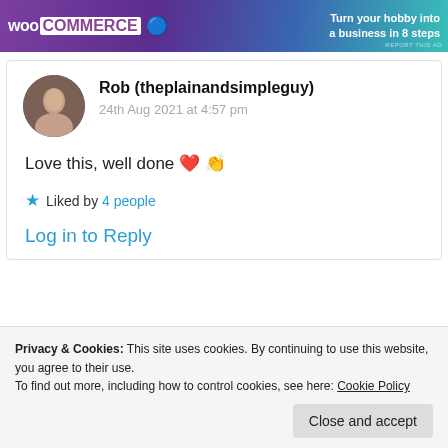[Figure (other): WooCommerce advertisement banner with purple/blue gradient background, WooCommerce logo, and tagline 'Turn your hobby into a business in 8 steps']
REPORT THIS AD
Rob (theplainandsimpleguy)
24th Aug 2021 at 4:57 pm
Love this, well done ❤️👏
★ Liked by 4 people
Log in to Reply
Privacy & Cookies: This site uses cookies. By continuing to use this website, you agree to their use.
To find out more, including how to control cookies, see here: Cookie Policy
Close and accept